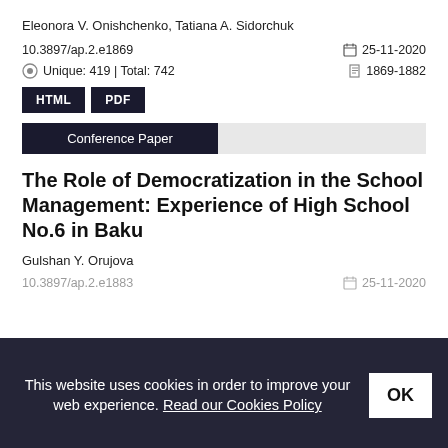Eleonora V. Onishchenko, Tatiana A. Sidorchuk
10.3897/ap.2.e1869
25-11-2020
Unique: 419 | Total: 742
1869-1882
HTML
PDF
Conference Paper
The Role of Democratization in the School Management: Experience of High School No.6 in Baku
Gulshan Y. Orujova
10.3897/ap.2.e1883
25-11-2020
This website uses cookies in order to improve your web experience. Read our Cookies Policy
OK